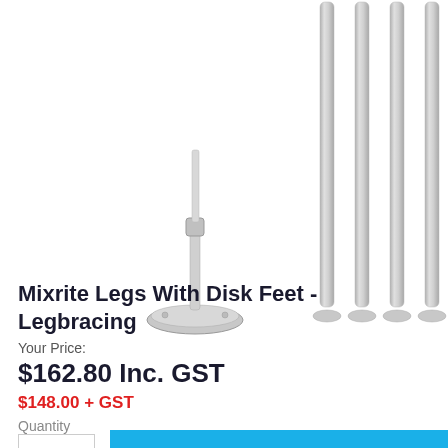[Figure (photo): Product photo showing stainless steel table legs with disk feet and a single leg with a flange/mounting base, photographed on white background.]
Mixrite Legs With Disk Feet - Legbracing
Your Price:
$162.80 Inc. GST
$148.00 + GST
Quantity